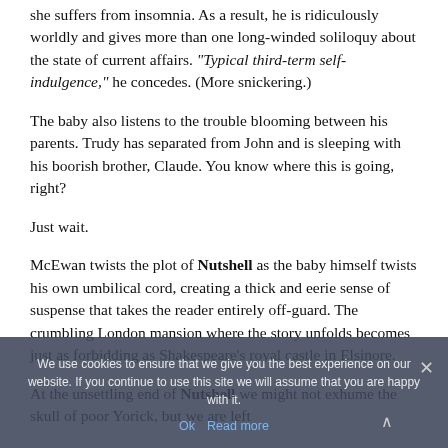she suffers from insomnia. As a result, he is ridiculously worldly and gives more than one long-winded soliloquy about the state of current affairs. "Typical third-term self-indulgence," he concedes. (More snickering.)
The baby also listens to the trouble blooming between his parents. Trudy has separated from John and is sleeping with his boorish brother, Claude. You know where this is going, right?
Just wait.
McEwan twists the plot of Nutshell as the baby himself twists his own umbilical cord, creating a thick and eerie sense of suspense that takes the reader entirely off-guard. The crumbling London mansion where the story unfolds becomes just as forbidding as Shakespeare's royal castle in Elsinore.
At the unsettling end of Nutshell we might not exhume the skull of poor Yorick, but we are left